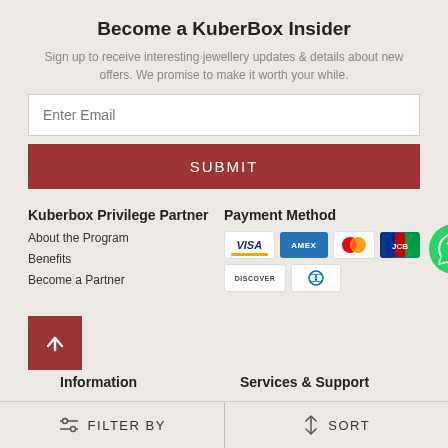Become a KuberBox Insider
Sign up to receive interesting jewellery updates & details about new offers. We promise to make it worth your while.
Enter Email
SUBMIT
Kuberbox Privilege Partner
Payment Method
About the Program
Benefits
Become a Partner
[Figure (infographic): Payment method icons: Visa, Amex, Mastercard, JCB, Discover, Diners Club]
[Figure (infographic): WhatsApp contact button - green circular icon]
[Figure (infographic): Back to top button - dark red square with upward arrow]
Information
Services & Support
FILTER BY
SORT